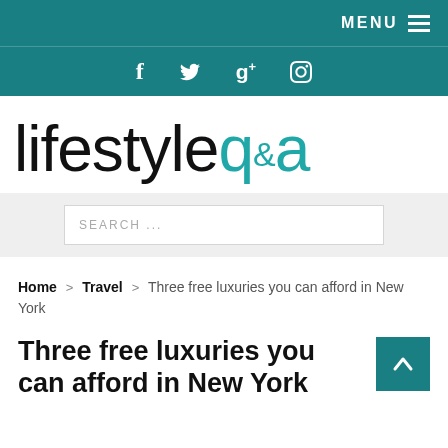MENU
[Figure (infographic): Social media icons: Facebook (f), Twitter (bird), Google+ (g+), Pinterest (p) on teal background]
[Figure (logo): lifestyleq&a logo — 'lifestyle' in black, 'q&a' in teal]
SEARCH ...
Home > Travel > Three free luxuries you can afford in New York
Three free luxuries you can afford in New York